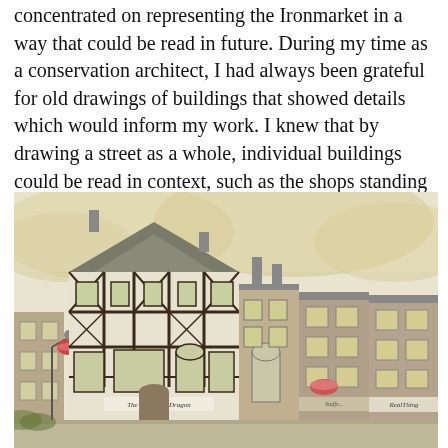concentrated on representing the Ironmarket in a way that could be read in future. During my time as a conservation architect, I had always been grateful for old drawings of buildings that showed details which would inform my work. I knew that by drawing a street as a whole, individual buildings could be read in context, such as the shops standing on narrow burgess plots.
[Figure (illustration): Watercolour architectural illustration of the Ironmarket street scene showing a row of historic buildings including a prominent black-and-white timber-framed building (The George & Dragon), with flanking Georgian and Victorian shopfronts. Signs visible include 'The George & Dragon', 'RealThing', and one partially legible shop. Street furniture and hanging baskets visible.]